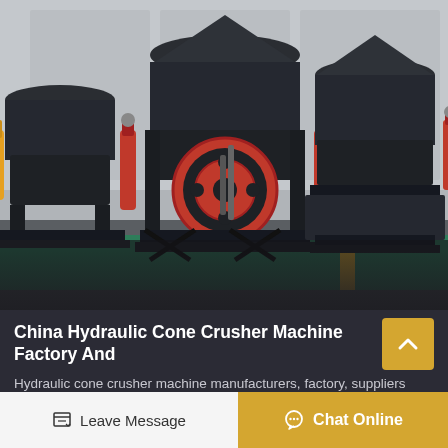[Figure (photo): Factory floor photo showing multiple large hydraulic cone crusher machines in dark gray/black with red and yellow hydraulic cylinder accents, red flywheel visible in the center machine, arranged in a row inside an industrial facility with a yellow stripe on the green floor.]
China Hydraulic Cone Crusher Machine Factory And
Hydraulic cone crusher machine manufacturers, factory, suppliers from china gold copper ore stone ball mill grinding mill machine